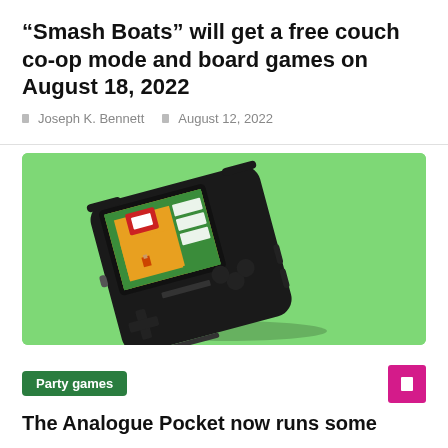“Smash Boats” will get a free couch co-op mode and board games on August 18, 2022
Joseph K. Bennett   August 12, 2022
[Figure (photo): A black handheld gaming device resembling a Game Boy Pocket displaying a retro game with orange/green pixel graphics, set against a bright green background.]
Party games
The Analogue Pocket now runs some